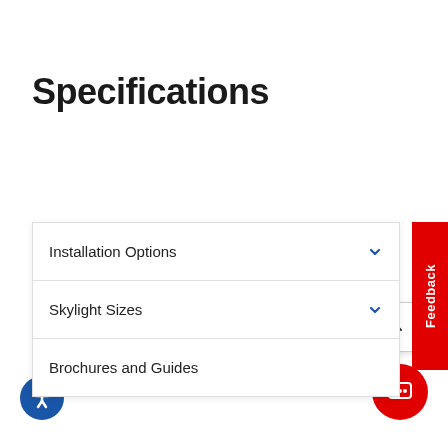Specifications
Installation Options
Skylight Sizes
Brochures and Guides